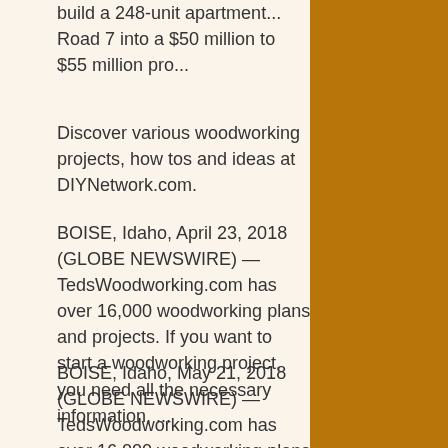build a 248-unit apartment... Road 7 into a $50 million to $55 million pro...
Discover various woodworking projects, how tos and ideas at DIYNetwork.com.
BOISE, Idaho, April 23, 2018 (GLOBE NEWSWIRE) — TedsWoodworking.com has over 16,000 woodworking plans and projects. If you want to start a woodworking project, you need all the necessary information, ...
BOISE, Idaho, May 21, 2018 (GLOBE NEWSWIRE) — TedsWoodworking.com has over 16,000 woodworking plans and projects. If you want to start a woodworking project, you need all the necessary